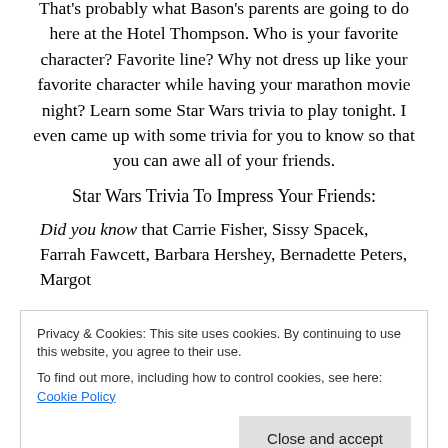That's probably what Bason's parents are going to do here at the Hotel Thompson. Who is your favorite character? Favorite line? Why not dress up like your favorite character while having your marathon movie night? Learn some Star Wars trivia to play tonight. I even came up with some trivia for you to know so that you can awe all of your friends.
Star Wars Trivia To Impress Your Friends:
Did you know that Carrie Fisher, Sissy Spacek, Farrah Fawcett, Barbara Hershey, Bernadette Peters, Margot
Privacy & Cookies: This site uses cookies. By continuing to use this website, you agree to their use.
To find out more, including how to control cookies, see here: Cookie Policy
Did you know that Luke Skywalker's original name for the